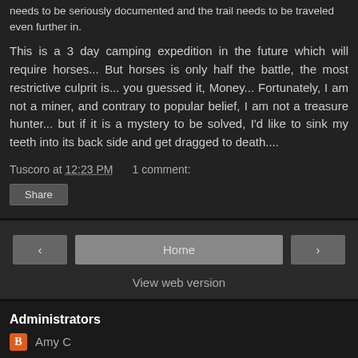needs to be seriously documented and the trail needs to be traveled even further in.
This is a 3 day camping expedition in the future which will require horses... But horses is only half the battle, the most restrictive culprit is... you guessed it, Money... Fortunately, I am not a miner, and contrary to popular belief, I am not a treasure hunter... but if it is a mystery to be solved, I'd like to sink my teeth into its back side and get dragged to death....
Tuscoro at 12:23 PM    1 comment:
Share
Home
View web version
Administrators
Amy C